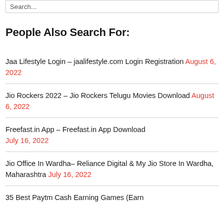People Also Search For:
Jaa Lifestyle Login – jaalifestyle.com Login Registration August 6, 2022
Jio Rockers 2022 – Jio Rockers Telugu Movies Download August 6, 2022
Freefast.in App – Freefast.in App Download July 16, 2022
Jio Office In Wardha– Reliance Digital & My Jio Store In Wardha, Maharashtra July 16, 2022
35 Best Paytm Cash Earning Games (Earn